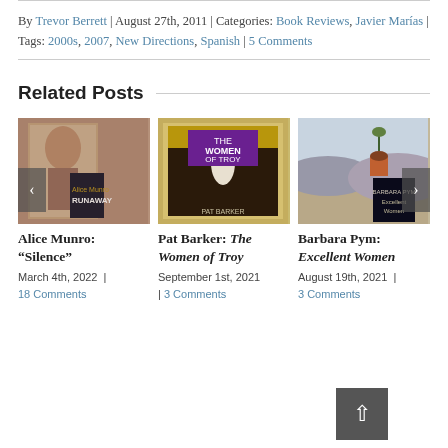By Trevor Berrett | August 27th, 2011 | Categories: Book Reviews, Javier Marías | Tags: 2000s, 2007, New Directions, Spanish | 5 Comments
Related Posts
[Figure (photo): Book cover of Alice Munro: Runaway]
Alice Munro: "Silence"
March 4th, 2022 | 18 Comments
[Figure (photo): Book cover of Pat Barker: The Women of Troy]
Pat Barker: The Women of Troy
September 1st, 2021 | 3 Comments
[Figure (photo): Book cover of Barbara Pym: Excellent Women]
Barbara Pym: Excellent Women
August 19th, 2021 | 3 Comments